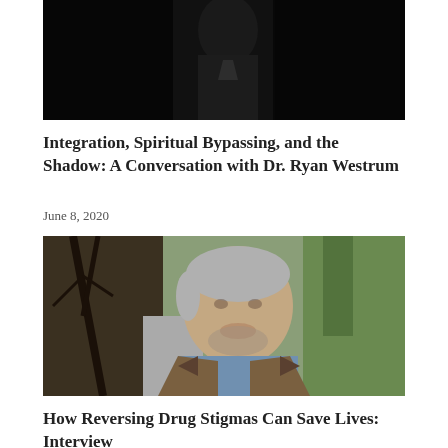[Figure (photo): Dark moody photo, partially visible figure in dark clothing against black background]
Integration, Spiritual Bypassing, and the Shadow: A Conversation with Dr. Ryan Westrum
June 8, 2020
[Figure (photo): Middle-aged man with grey hair and beard wearing a blue shirt and brown jacket, standing outdoors with trees in the background]
How Reversing Drug Stigmas Can Save Lives: Interview